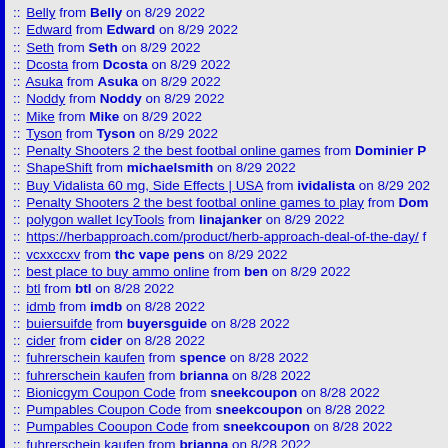:: Belly from Belly on 8/29 2022
:: Edward from Edward on 8/29 2022
:: Seth from Seth on 8/29 2022
:: Dcosta from Dcosta on 8/29 2022
:: Asuka from Asuka on 8/29 2022
:: Noddy from Noddy on 8/29 2022
:: Mike from Mike on 8/29 2022
:: Tyson from Tyson on 8/29 2022
:: Penalty Shooters 2 the best footbal online games from Dominier P…
:: ShapeShift from michaelsmith on 8/29 2022
:: Buy Vidalista 60 mg, Side Effects | USA from ividalista on 8/29 202…
:: Penalty Shooters 2 the best footbal online games to play from Dom…
:: polygon wallet IcyTools from linajanker on 8/29 2022
:: https://herbapproach.com/product/herb-approach-deal-of-the-day/ f…
:: vcxxccxv from thc vape pens on 8/29 2022
:: best place to buy ammo online from ben on 8/29 2022
:: btl from btl on 8/28 2022
:: idmb from imdb on 8/28 2022
:: buiersuifde from buyersguide on 8/28 2022
:: cider from cider on 8/28 2022
:: fuhrerschein kaufen from spence on 8/28 2022
:: fuhrerschein kaufen from brianna on 8/28 2022
:: Bionicgym Coupon Code from sneekcoupon on 8/28 2022
:: Pumpables Coupon Code from sneekcoupon on 8/28 2022
:: Pumpables Cooupon Code from sneekcoupon on 8/28 2022
:: fuhrerschein kaufen from brianna on 8/28 2022
:: asdasaas from asdas on 8/28 2022
:: Al Ola General Services Company from el3olaa on 8/27 2022
:: Al-Sabi General Cleaning and Furniture Moving Company from als…
:: Call Girl Delhi from shivanisharma on 8/27 2022